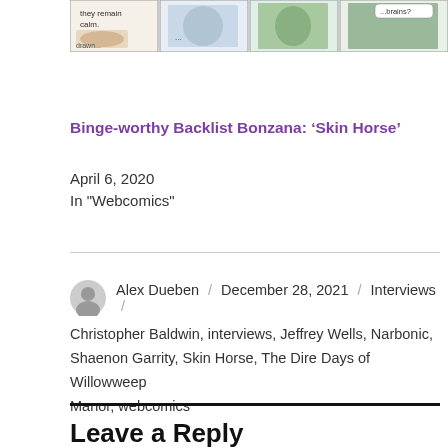[Figure (illustration): Comic strip panels cropped at top of page showing characters with speech bubbles reading 'they remain calm.' and '...brains?']
Binge-worthy Backlist Bonzana: ‘Skin Horse’
April 6, 2020
In "Webcomics"
Alex Dueben / December 28, 2021 / Interviews / Christopher Baldwin, interviews, Jeffrey Wells, Narbonic, Shaenon Garrity, Skin Horse, The Dire Days of Willowweep Manor, webcomics
Leave a Reply
Your email address will not be published. Required fields